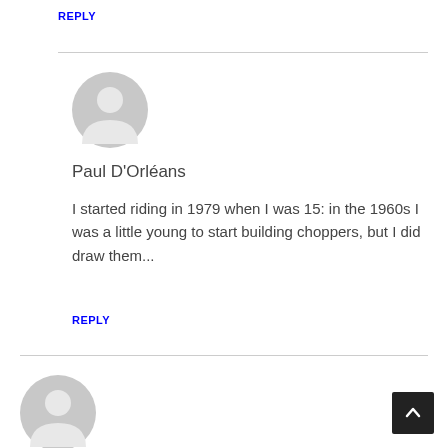REPLY
[Figure (illustration): Default grey user avatar circle with person silhouette, medium size]
Paul D'Orléans
I started riding in 1979 when I was 15: in the 1960s I was a little young to start building choppers, but I did draw them...
REPLY
[Figure (illustration): Default grey user avatar circle with person silhouette, smaller size at bottom]